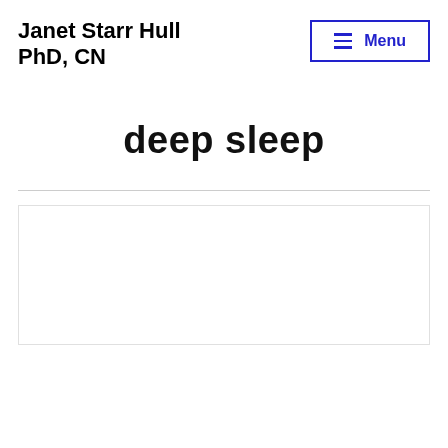Janet Starr Hull PhD, CN
deep sleep
[Figure (other): White card/article preview box below a horizontal divider line]